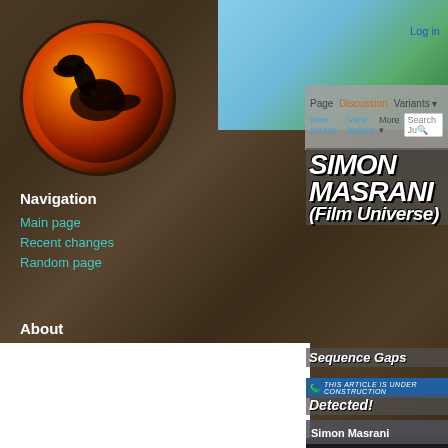[Figure (screenshot): Jurassic World wiki/encyclopedia website screenshot showing a page for Simon Masrani (Film Universe). Left sidebar shows navigation links on a tree bark background with a Jurassic World logo circle. Main content area shows the page title in large stylized font, with tabs (Page, Discussion, Variants), action links (view source, view history, More), a search box, Log in link, a Sequence Gaps / Detected notice, an under construction banner, and a photo infobox caption for Simon Masrani.]
Page   Discussion   Variants
view source   View history   More   Search Jur...   Log in
SIMON MASRANI (FILM UNIVERSE)
Sequence Gaps Detected!
THIS ARTICLE IS UNDER CONSTRUCTION
Simon Masrani
Navigation
Main page
Recent changes
Random page
About
Encyclopedia Team
Research Policy
Advertising